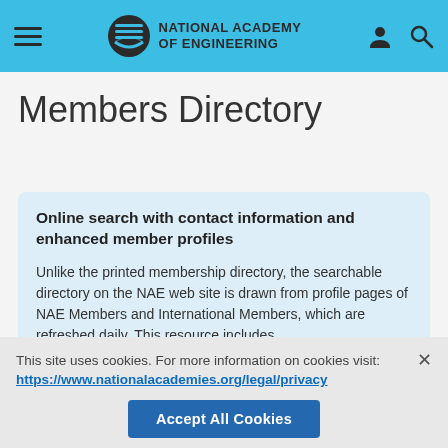National Academy of Engineering
Members Directory
Online search with contact information and enhanced member profiles
Unlike the printed membership directory, the searchable directory on the NAE web site is drawn from profile pages of NAE Members and International Members, which are refreshed daily. This resource includes
This site uses cookies. For more information on cookies visit: https://www.nationalacademies.org/legal/privacy
Accept All Cookies